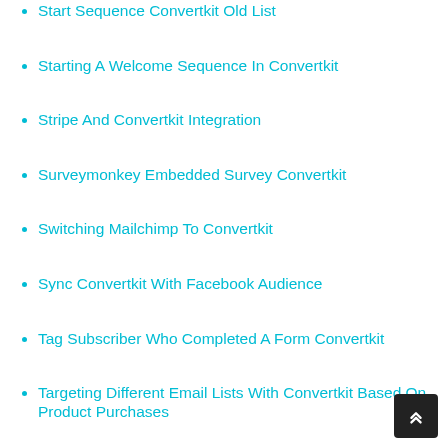Start Sequence Convertkit Old List
Starting A Welcome Sequence In Convertkit
Stripe And Convertkit Integration
Surveymonkey Embedded Survey Convertkit
Switching Mailchimp To Convertkit
Sync Convertkit With Facebook Audience
Tag Subscriber Who Completed A Form Convertkit
Targeting Different Email Lists With Convertkit Based On Product Purchases
Test Email Gone In Convertkit
Thrive Leads Vs Convertkit